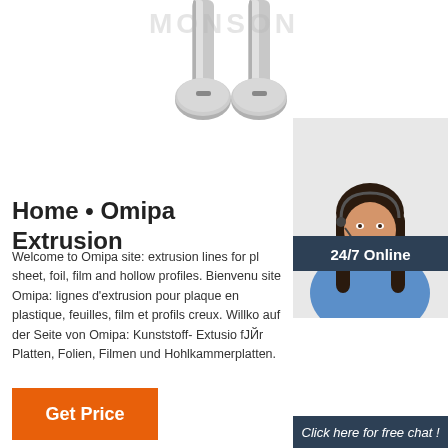[Figure (photo): Top portion of page showing two chrome/silver screws or bolts on a white background, with a faded watermark text reading 'MONSON' in the background]
[Figure (photo): 24/7 Online customer service representative - a woman with dark hair wearing a headset and blue shirt, smiling. Overlaid with dark blue '24/7 Online' header, 'Click here for free chat!' text box, and orange 'QUOTATION' button.]
Home • Omipa Extrusion
Welcome to Omipa site: extrusion lines for plastic sheet, foil, film and hollow profiles. Bienvenu site Omipa: lignes d'extrusion pour plaque en plastique, feuilles, film et profils creux. Willko auf der Seite von Omipa: Kunststoff- Extrusio fJЙr Platten, Folien, Filmen und Hohlkammerplatten.
Get Price